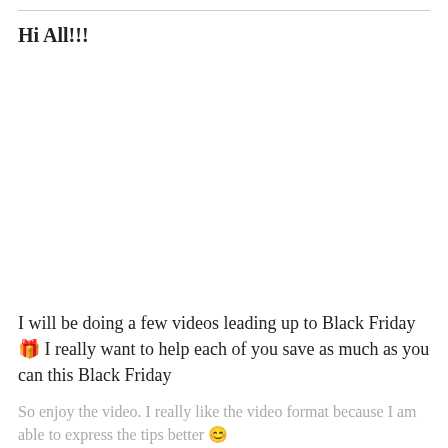Hi All!!!
I will be doing a few videos leading up to Black Friday 🎉 I really want to help each of you save as much as you can this Black Friday
So enjoy the video. I really like the video format because I am able to express the tips better 😊